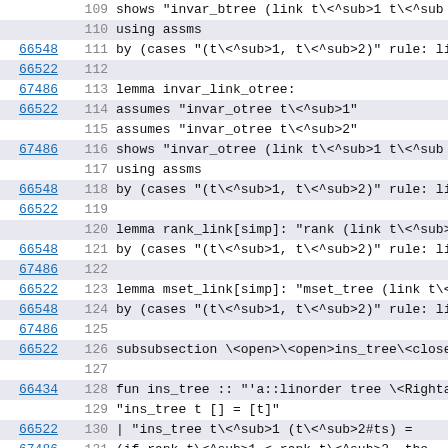Code listing lines 109-131 showing Isabelle proof code for lemmas invar_link_otree, rank_link, mset_link, and fun ins_tree
| link | line | code |
| --- | --- | --- |
|  | 109 | shows "invar_btree (link t\<^sub>1 t\<^sub>... |
|  | 110 | using assms |
| 66548 | 111 | by (cases "(t\<^sub>1, t\<^sub>2)" rule: li... |
| 66522 | 112 |  |
| 67486 | 113 | lemma invar_link_otree: |
| 66522 | 114 |   assumes "invar_otree t\<^sub>1" |
|  | 115 |   assumes "invar_otree t\<^sub>2" |
| 67486 | 116 |   shows "invar_otree (link t\<^sub>1 t\<^sub>... |
|  | 117 | using assms |
| 66548 | 118 | by (cases "(t\<^sub>1, t\<^sub>2)" rule: li... |
| 66522 | 119 |  |
|  | 120 | lemma rank_link[simp]: "rank (link t\<^sub>1... |
| 66548 | 121 | by (cases "(t\<^sub>1, t\<^sub>2)" rule: li... |
| 67486 | 122 |  |
| 66522 | 123 | lemma mset_link[simp]: "mset_tree (link t\<... |
| 66548 | 124 | by (cases "(t\<^sub>1, t\<^sub>2)" rule: li... |
| 67486 | 125 |  |
| 66522 | 126 | subsubsection \<open>\<open>ins_tree\<close... |
|  | 127 |  |
| 66434 | 128 | fun ins_tree :: "'a::linorder tree \<Rightar... |
|  | 129 |   "ins_tree t [] = [t]" |
| 66522 | 130 | | "ins_tree t\<^sub>1 (t\<^sub>2#ts) = |
| 67486 | 131 |   (if rank t\<^sub>1 < rank t\<^sub>2, the... |